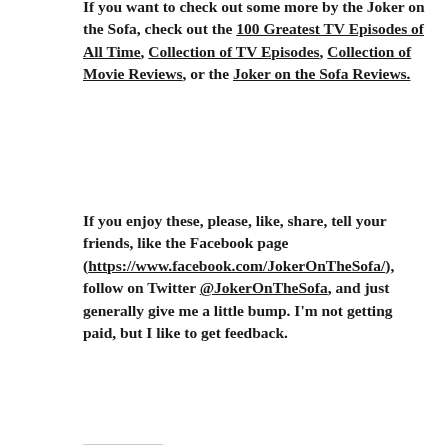If you want to check out some more by the Joker on the Sofa, check out the 100 Greatest TV Episodes of All Time, Collection of TV Episodes, Collection of Movie Reviews, or the Joker on the Sofa Reviews.
If you enjoy these, please, like, share, tell your friends, like the Facebook page (https://www.facebook.com/JokerOnTheSofa/), follow on Twitter @JokerOnTheSofa, and just generally give me a little bump. I'm not getting paid, but I like to get feedback.
MAKE ME FAMOUS:
Loading...